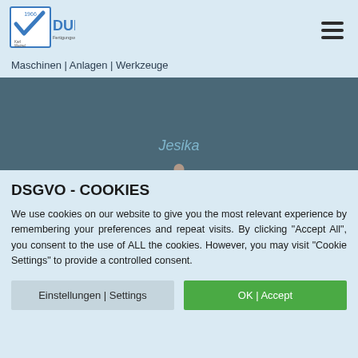[Figure (logo): Dudek Fertigungssysteme logo with checkmark emblem and year 1966, Karl Wetzel branding]
Maschinen | Anlagen | Werkzeuge
[Figure (illustration): Dark teal hero banner with italic text 'Jesika' in muted blue and a small dot below]
DSGVO - COOKIES
We use cookies on our website to give you the most relevant experience by remembering your preferences and repeat visits. By clicking "Accept All", you consent to the use of ALL the cookies. However, you may visit "Cookie Settings" to provide a controlled consent.
Einstellungen | Settings
OK | Accept